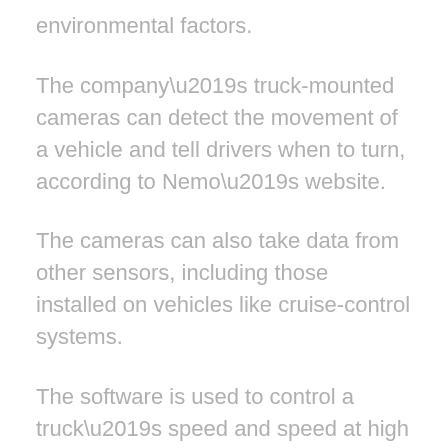environmental factors.
The company’s truck-mounted cameras can detect the movement of a vehicle and tell drivers when to turn, according to Nemo’s website.
The cameras can also take data from other sensors, including those installed on vehicles like cruise-control systems.
The software is used to control a truck’s speed and speed at high speeds.
It can also detect the speed and distance of other trucks and to determine if a truck is stationary or moving on the road.
Nemo’s trucks are designed for road use in Japan, India, the United States and other parts of Asia.